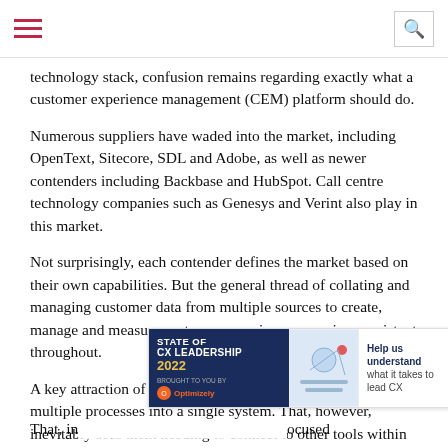[Hamburger menu] [Search icon]
technology stack, confusion remains regarding exactly what a customer experience management (CEM) platform should do.
Numerous suppliers have waded into the market, including OpenText, Sitecore, SDL and Adobe, as well as newer contenders including Backbase and HubSpot. Call centre technology companies such as Genesys and Verint also play in this market.
Not surprisingly, each contender defines the market based on their own capabilities. But the general thread of collating and managing customer data from multiple sources to create, manage and measure customer experiences remains consistent throughout.
A key attraction of CEM platforms is their ability to combine multiple processes into a single system. That, however, inevitably sees them needing to connect to other tools within the mar
[Figure (infographic): Advertisement banner: STATE OF CX LEADERSHIP 2022 brought to you by Optimizely. Help us understand what it takes to lead CX]
That, in